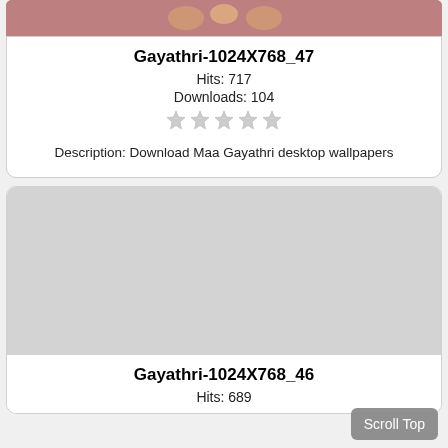[Figure (photo): Partial top of a wallpaper image with reddish/pink background, partially cropped at top of page]
Gayathri-1024X768_47
Hits: 717
Downloads: 104
[Figure (other): 5 gray/silver star rating icons]
Description: Download Maa Gayathri desktop wallpapers
[Figure (photo): Gray placeholder image box for second wallpaper entry]
Gayathri-1024X768_46
Hits: 689